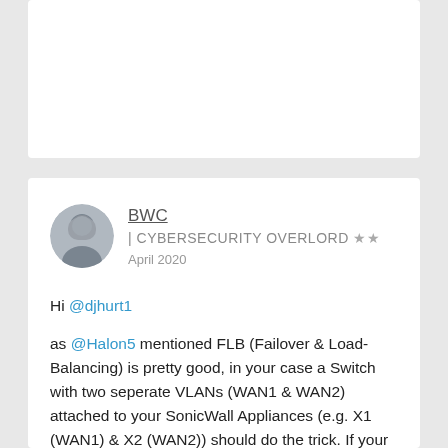[Figure (other): Partially visible top forum post card with white background]
BWC | CYBERSECURITY OVERLORD ★★
April 2020
Hi @djhurt1

as @Halon5 mentioned FLB (Failover & Load-Balancing) is pretty good, in your case a Switch with two seperate VLANs (WAN1 & WAN2) attached to your SonicWall Appliances (e.g. X1 (WAN1) & X2 (WAN2)) should do the trick. If your routers have a built-in switch you're good as well. But you need Network Probes to have this working properly, because the ethernet-link of the Interface is always